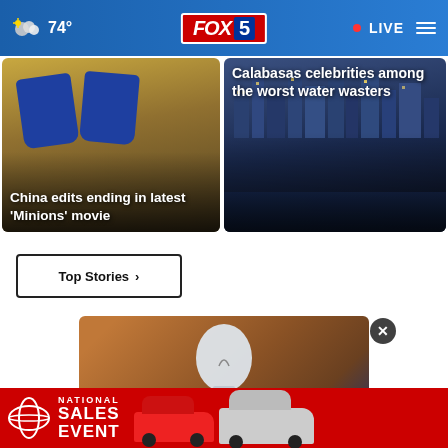74° | FOX 5 | LIVE
[Figure (photo): News thumbnail: China edits ending in latest 'Minions' movie - shows feet/shoes]
China edits ending in latest 'Minions' movie
[Figure (photo): News thumbnail: Calabasas celebrities among the worst water wasters - city skyline]
Calabasas celebrities among the worst water wasters
Top Stories ›
[Figure (photo): Close-up photo of a white light bulb against orange/brown background]
[Figure (photo): Toyota National Sales Event advertisement banner with two cars]